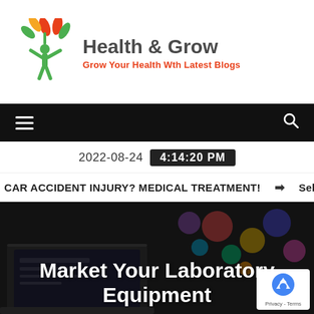[Figure (logo): Health & Grow website logo with a stylized green person figure and orange/red leaf design, with text 'Health & Grow' and subtitle 'Grow Your Health Wth Latest Blogs']
Navigation bar with hamburger menu and search icon
2022-08-24   4:14:20 PM
CAR ACCIDENT INJURY? MEDICAL TREATMENT!   ➔ Self-Care
[Figure (photo): Dark hero image showing a laptop computer and colorful bokeh lights in the background, with overlay title text 'Market Your Laboratory Equipment']
Market Your Laboratory Equipment